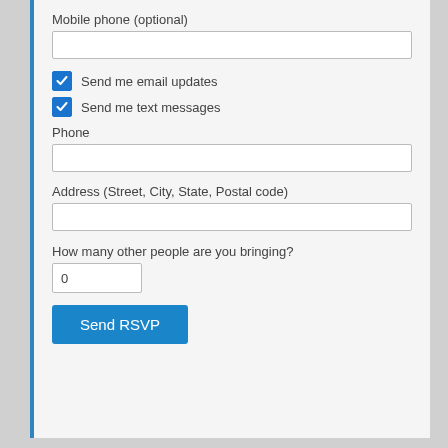Mobile phone (optional)
[Figure (screenshot): Empty text input field for mobile phone]
Send me email updates
Send me text messages
Phone
[Figure (screenshot): Empty text input field for phone]
Address (Street, City, State, Postal code)
[Figure (screenshot): Empty text input field for address]
How many other people are you bringing?
[Figure (screenshot): Small number input field showing 0]
Send RSVP